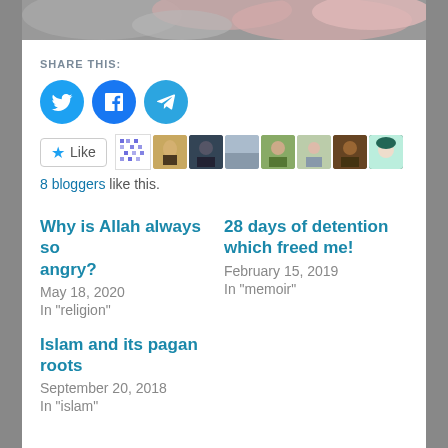[Figure (photo): Partial image strip showing abstract colorful cloth/fabric at the top of the page]
SHARE THIS:
[Figure (infographic): Social sharing icons: Twitter (blue circle), Facebook (blue circle), Telegram (blue circle), followed by a Like button with star icon, a QR-style avatar, and 8 blogger profile photo thumbnails]
8 bloggers like this.
Why is Allah always so angry?
May 18, 2020
In "religion"
28 days of detention which freed me!
February 15, 2019
In "memoir"
Islam and its pagan roots
September 20, 2018
In "islam"